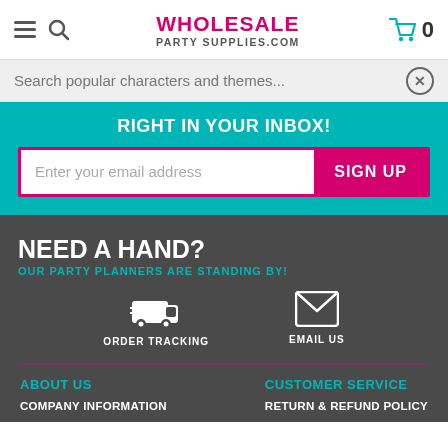WHOLESALE PARTY SUPPLIES.COM — Cart: 0
Search popular characters and themes...
RIGHT IN YOUR INBOX!
Enter your email address   SIGN UP
NEED A HAND? OUR PARTY PLANNERS ARE STANDING BY!
ORDER TRACKING   EMAIL US
ABOUT US
CUSTOMER SERVICE
COMPANY INFORMATION
RETURN & REFUND POLICY